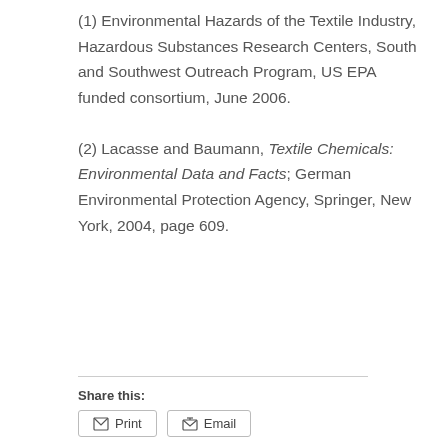(1) Environmental Hazards of the Textile Industry, Hazardous Substances Research Centers, South and Southwest Outreach Program, US EPA funded consortium, June 2006.
(2) Lacasse and Baumann, Textile Chemicals: Environmental Data and Facts; German Environmental Protection Agency, Springer, New York, 2004, page 609.
Share this: